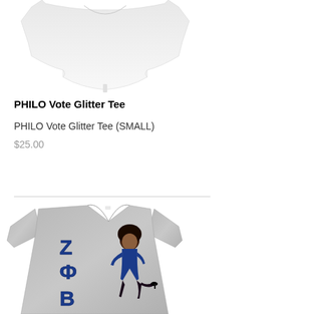[Figure (photo): White flowy t-shirt product photo on white background, shown from above/front, partially cropped at top]
PHILO Vote Glitter Tee
PHILO Vote Glitter Tee (SMALL)
$25.00
[Figure (photo): Gray v-neck t-shirt with Zeta Phi Beta sorority letters (ZΦB) in blue with a stylized cartoon woman figure on the front]